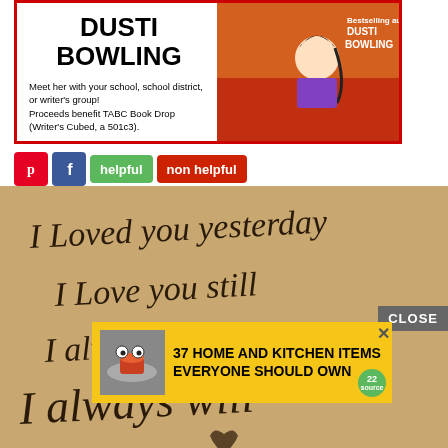[Figure (infographic): Advertisement banner for Dusti Bowling author visit with book cover showing animated girl character. Red border. Text: DUSTI BOWLING. Meet her with your school, school district, or writer's group! Proceeds benefit TABC Book Drop (Writer's Cubed, a 501c3).]
[Figure (infographic): Social sharing buttons: Pinterest (red P icon), Facebook (blue f icon), green 'helpful' button, red 'non helpful' button]
[Figure (photo): Tan/beige textured background with cursive dark brown text reading: I Loved you yesterday, I Love you still, I always have..., I always will. With a decorative heart design at bottom.]
CLOSE
37 HOME AND KITCHEN ITEMS EVERYONE SHOULD OWN